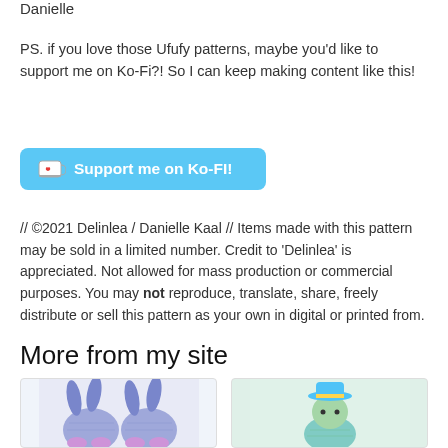Danielle
PS. if you love those Ufufy patterns, maybe you'd like to support me on Ko-Fi?! So I can keep making content like this!
[Figure (other): Cyan/blue Ko-Fi support button with coffee cup icon and heart, text: Support me on Ko-Fi!]
// ©2021 Delinlea / Danielle Kaal // Items made with this pattern may be sold in a limited number. Credit to 'Delinlea' is appreciated. Not allowed for mass production or commercial purposes. You may not reproduce, translate, share, freely distribute or sell this pattern as your own in digital or printed from.
More from my site
[Figure (photo): Two crocheted purple bunny amigurumi figures shown from behind, with pink soles visible]
[Figure (photo): Crocheted light green character with blue and yellow hat, partially visible]